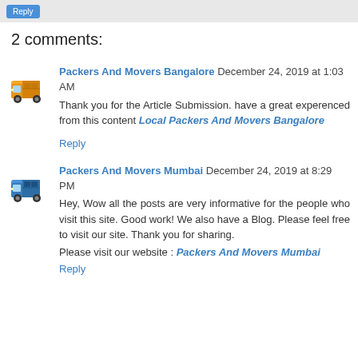2 comments:
Packers And Movers Bangalore December 24, 2019 at 1:03 AM
Thank you for the Article Submission. have a great experenced from this content Local Packers And Movers Bangalore
Reply
Packers And Movers Mumbai December 24, 2019 at 8:29 PM
Hey, Wow all the posts are very informative for the people who visit this site. Good work! We also have a Blog. Please feel free to visit our site. Thank you for sharing. Please visit our website : Packers And Movers Mumbai
Reply